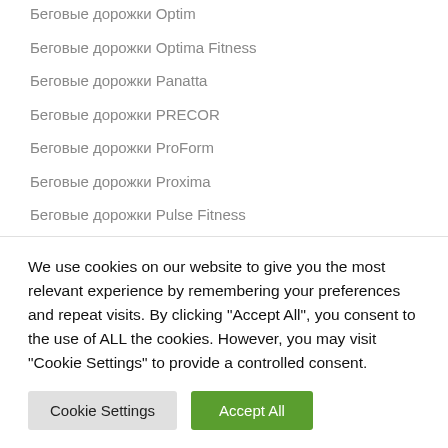Беговые дорожки Optim
Беговые дорожки Optima Fitness
Беговые дорожки Panatta
Беговые дорожки PRECOR
Беговые дорожки ProForm
Беговые дорожки Proxima
Беговые дорожки Pulse Fitness
Беговые дорожки Raizer
Беговые дорожки REEBOK
Беговые дорожки Royal Fitness
Беговые дорожки SFG
We use cookies on our website to give you the most relevant experience by remembering your preferences and repeat visits. By clicking "Accept All", you consent to the use of ALL the cookies. However, you may visit "Cookie Settings" to provide a controlled consent.
Cookie Settings | Accept All